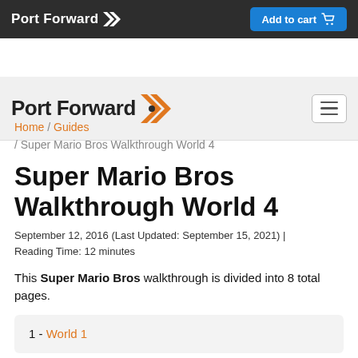Port Forward | Add to cart
[Figure (logo): Port Forward logo with orange chevron icon on dark background nav bar]
Home / Guides / Super Mario Bros Walkthrough World 4
Super Mario Bros Walkthrough World 4
September 12, 2016 (Last Updated: September 15, 2021) | Reading Time: 12 minutes
This Super Mario Bros walkthrough is divided into 8 total pages.
1 - World 1